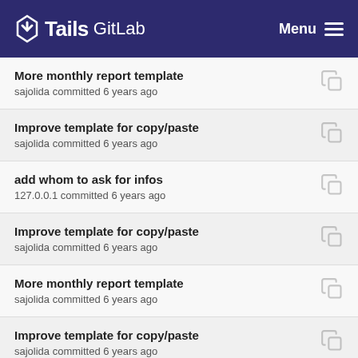Tails GitLab  Menu
More monthly report template
sajolida committed 6 years ago
Improve template for copy/paste
sajolida committed 6 years ago
add whom to ask for infos
127.0.0.1 committed 6 years ago
Improve template for copy/paste
sajolida committed 6 years ago
More monthly report template
sajolida committed 6 years ago
Improve template for copy/paste
sajolida committed 6 years ago
More monthly report template
sajolida committed 6 years ago
Improve template for copy/paste